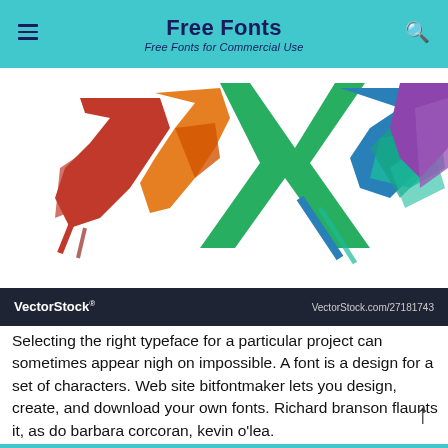Free Fonts
Free Fonts for Commercial Use
[Figure (illustration): Colorful stylized Hebrew-style lettering in red, orange, green, teal, blue, and purple on white background, with VectorStock watermark bar showing VectorStock® and VectorStock.com/27181743]
Selecting the right typeface for a particular project can sometimes appear nigh on impossible. A font is a design for a set of characters. Web site bitfontmaker lets you design, create, and download your own fonts. Richard branson flaunts it, as do barbara corcoran, kevin o'lea.